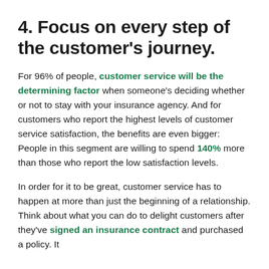4. Focus on every step of the customer's journey.
For 96% of people, customer service will be the determining factor when someone's deciding whether or not to stay with your insurance agency. And for customers who report the highest levels of customer service satisfaction, the benefits are even bigger: People in this segment are willing to spend 140% more than those who report the low satisfaction levels.
In order for it to be great, customer service has to happen at more than just the beginning of a relationship. Think about what you can do to delight customers after they've signed an insurance contract and purchased a policy. It